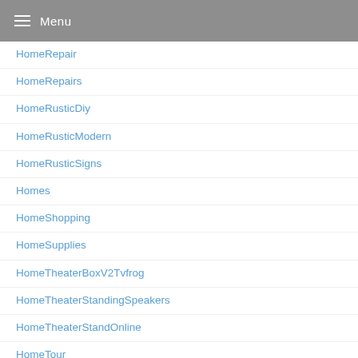Menu
HomeRepair
HomeRepairs
HomeRusticDiy
HomeRusticModern
HomeRusticSigns
Homes
HomeShopping
HomeSupplies
HomeTheaterBoxV2Tvfrog
HomeTheaterStandingSpeakers
HomeTheaterStandOnline
HomeTour
HomeTours
Homewares
Hooks
HorribleKitchenDesign
HotCoupons